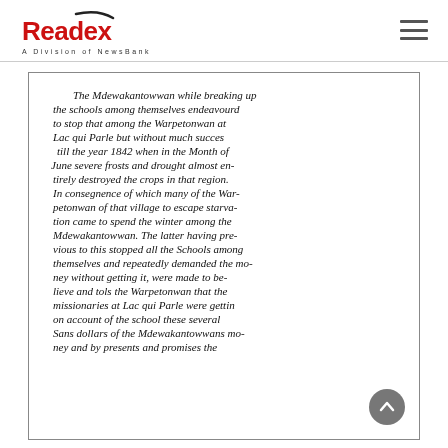Readex — A Division of NewsBank
[Figure (photo): Handwritten historical manuscript page. Text reads: The Mdewakantowwan while breaking up the schools among themselves endeavourd to stop that among the Warpetonwan at Lac qui Parle but without much succes till the year 1842 when in the Month of June severe frosts and drought almost entirely destroyed the crops in that region. In consegnence of which many of the Warpetonwan of that village to escape starvation came to spend the winter among the Mdewakantowwan. The latter having previous to this stopped all the Schools among themselves and repeatedly demanded the money without getting it, were made to believe and tols the Warpetonwan that the missionaries at Lac qui Parle were getting on account of the school these several Sans dollars of the Mdewakantowwans money and by presents and promises the...]